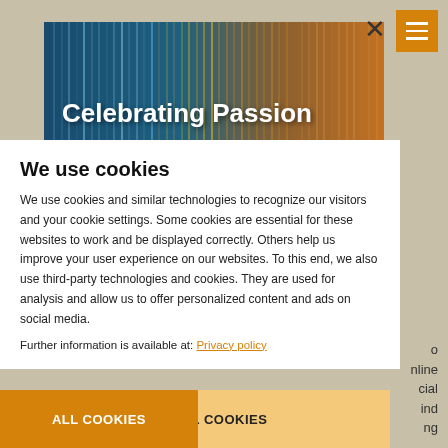[Figure (screenshot): Cookie consent overlay on top of BSI Customer Summit 2022 webpage. Background shows a colorful banner with text 'Celebrating Passion' and an orange/teal gradient pattern. Foreground shows a white cookie notice panel with title 'We use cookies', body text about cookie usage, a privacy policy link, and two action buttons: an orange 'ALL COOKIES' button and a light orange 'ESSENTIAL COOKIES' button.]
Celebrating Passion
BSI Customer Summit 2022
April 25–28, BSI Customer Summit 2022 – a virtual and 9.2022 as a hybrid event. Its motto will be "Celebrating Passion" – we will celebrate the passion that paves the way for innovation. You can look ahead to passionate keynote speeches, best practices and news from the world of BSI.
We use cookies
We use cookies and similar technologies to recognize our visitors and your cookie settings. Some cookies are essential for these websites to work and be displayed correctly. Others help us improve your user experience on our websites. To this end, we also use third-party technologies and cookies. They are used for analysis and allow us to offer personalized content and ads on social media.
Further information is available at: Privacy policy